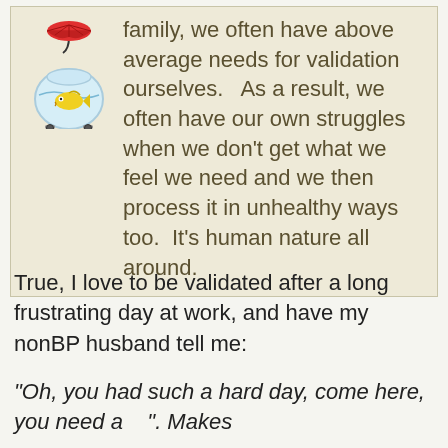[Figure (illustration): Cartoon illustration of a yellow fish in a round fishbowl holding a red umbrella]
family, we often have above average needs for validation ourselves.   As a result, we often have our own struggles when we don't get what we feel we need and we then process it in unhealthy ways too.  It's human nature all around.
True, I love to be validated after a long frustrating day at work, and have my nonBP husband tell me:
"Oh, you had such a hard day, come here, you need a   ". Makes